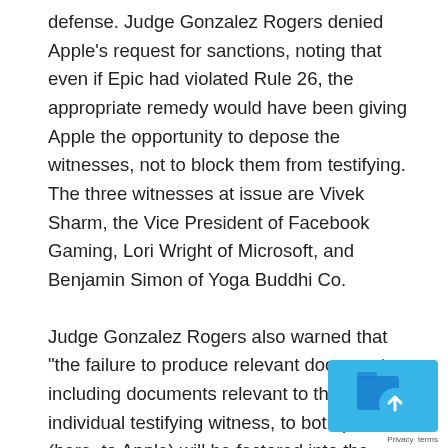defense. Judge Gonzalez Rogers denied Apple's request for sanctions, noting that even if Epic had violated Rule 26, the appropriate remedy would have been giving Apple the opportunity to depose the witnesses, not to block them from testifying. The three witnesses at issue are Vivek Sharm, the Vice President of Facebook Gaming, Lori Wright of Microsoft, and Benjamin Simon of Yoga Buddhi Co.
Judge Gonzalez Rogers also warned that “the failure to produce relevant documents, including documents relevant to the individual testifying witness, to both parties (here, to Apple) will be factored into the individual witness’
[Figure (other): A blue UI button with an upward chevron/arrow icon, likely a scroll-to-top or cookie consent button, with partial text 'Privacy terms' visible below it.]